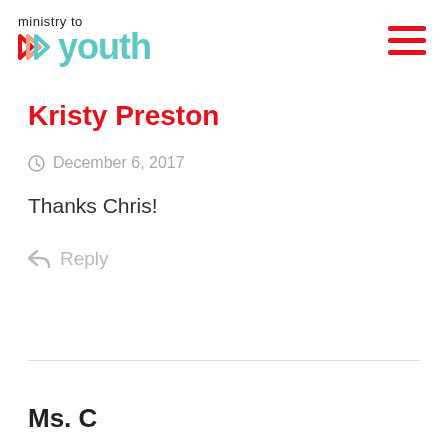[Figure (logo): Ministry to Youth logo with teal arrows and teal 'youth' text, plus hamburger menu icon in red on the right]
Kristy Preston
December 6, 2017
Thanks Chris!
Reply
Ms. C